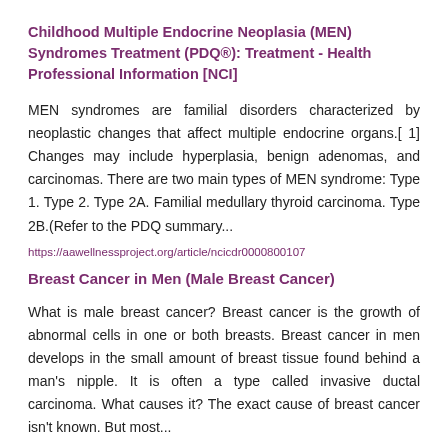Childhood Multiple Endocrine Neoplasia (MEN) Syndromes Treatment (PDQ®): Treatment - Health Professional Information [NCI]
MEN syndromes are familial disorders characterized by neoplastic changes that affect multiple endocrine organs.[ 1] Changes may include hyperplasia, benign adenomas, and carcinomas. There are two main types of MEN syndrome: Type 1. Type 2. Type 2A. Familial medullary thyroid carcinoma. Type 2B.(Refer to the PDQ summary...
https://aawellnessproject.org/article/ncicdr0000800107
Breast Cancer in Men (Male Breast Cancer)
What is male breast cancer? Breast cancer is the growth of abnormal cells in one or both breasts. Breast cancer in men develops in the small amount of breast tissue found behind a man's nipple. It is often a type called invasive ductal carcinoma. What causes it? The exact cause of breast cancer isn't known. But most...
https://aawellnessproject.org/article/tv8420